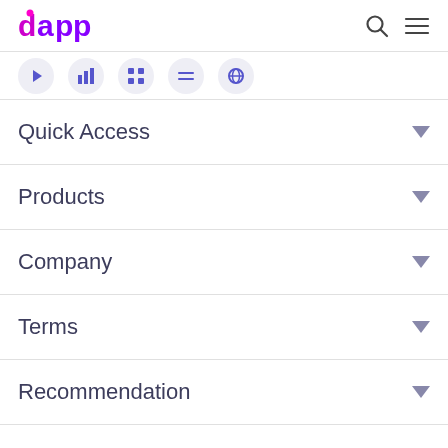dapp
[Figure (infographic): Row of five circular icon buttons in purple/blue on light grey circles]
Quick Access
Products
Company
Terms
Recommendation